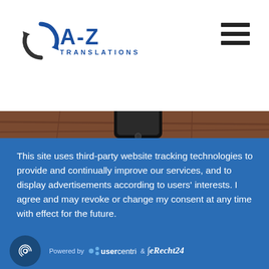[Figure (logo): A-Z Translations logo with circular arrows icon and blue text]
[Figure (photo): Partial photo showing a wooden surface with a smartphone, cropped at top]
This site uses third-party website tracking technologies to provide and continually improve our services, and to display advertisements according to users' interests. I agree and may revoke or change my consent at any time with effect for the future.
DENY
ACCEPT
MORE
[Figure (logo): Powered by Usercentrics & eRecht24 logos with fingerprint icon]
Powered by usercentrics & eRecht24